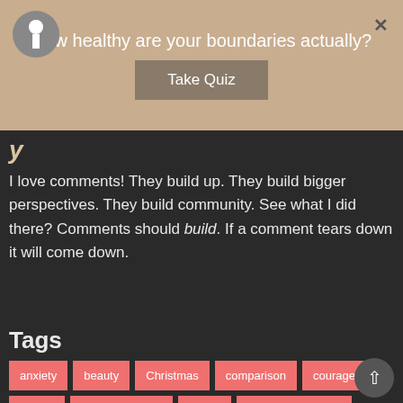[Figure (other): Top banner overlay with logo, quiz promotion text 'How healthy are your boundaries actually?', a 'Take Quiz' button, and an X close button on a tan/beige background.]
I love comments! They build up. They build bigger perspectives. They build community. See what I did there? Comments should build. If a comment tears down it will come down.
Tags
anxiety
beauty
Christmas
comparison
courage
Easter
encouragement
failure
family dysfunction
fear
forgiveness
freedom
friendship
grace
gratitude
holidays
hope
Inspiration
justice